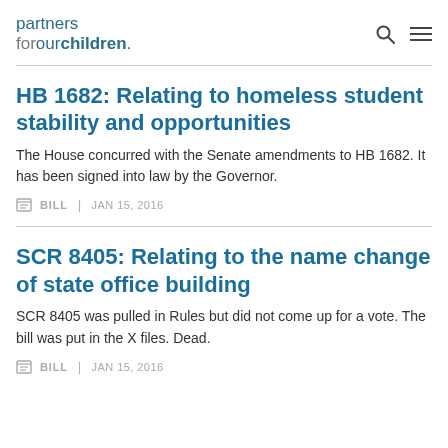partners forourchildren
HB 1682: Relating to homeless student stability and opportunities
The House concurred with the Senate amendments to HB 1682. It has been signed into law by the Governor.
BILL | JAN 15, 2016
SCR 8405: Relating to the name change of state office building
SCR 8405 was pulled in Rules but did not come up for a vote. The bill was put in the X files. Dead.
BILL | JAN 15, 2016